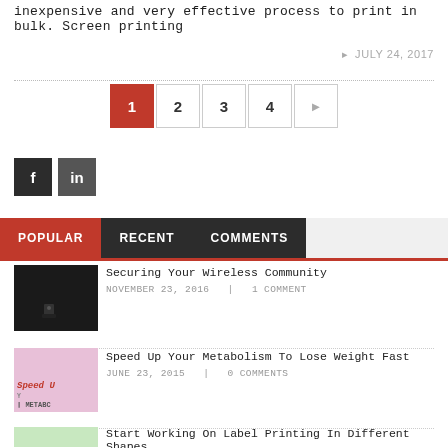inexpensive and very effective process to print in bulk. Screen printing
JULY 24, 2017
[Figure (infographic): Pagination bar with buttons 1 (active/red), 2, 3, 4, and a right arrow]
[Figure (infographic): Social media icon buttons: Facebook (f) and LinkedIn (in)]
[Figure (infographic): Tab bar with POPULAR (red), RECENT, COMMENTS tabs]
[Figure (photo): Thumbnail image of a wireless router (dark device)]
Securing Your Wireless Community
NOVEMBER 23, 2016   |   1 COMMENT
[Figure (photo): Thumbnail image for Speed Up Your Metabolism article with pink/colorful design and text METABC]
Speed Up Your Metabolism To Lose Weight Fast
JUNE 23, 2015   |   0 COMMENTS
[Figure (photo): Thumbnail image for Start Working On Label Printing article with colorful design]
Start Working On Label Printing In Different Shapes